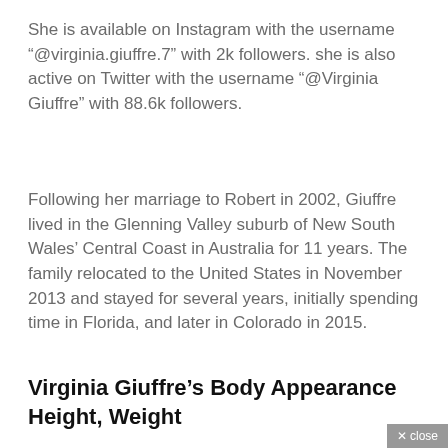She is available on Instagram with the username “@virginia.giuffre.7” with 2k followers. she is also active on Twitter with the username “@Virginia Giuffre” with 88.6k followers.
Following her marriage to Robert in 2002, Giuffre lived in the Glenning Valley suburb of New South Wales’ Central Coast in Australia for 11 years. The family relocated to the United States in November 2013 and stayed for several years, initially spending time in Florida, and later in Colorado in 2015.
Virginia Giuffre’s Body Appearance Height, Weight